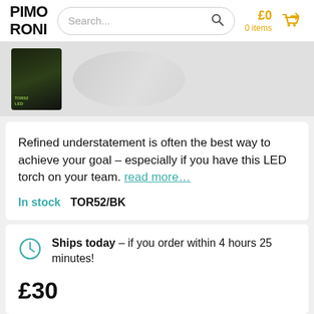PIMORONI
[Figure (photo): Product thumbnail of an LED torch in dark packaging]
Refined understatement is often the best way to achieve your goal – especially if you have this LED torch on your team. read more…
In stock   TOR52/BK
Ships today – if you order within 4 hours 25 minutes!
£30